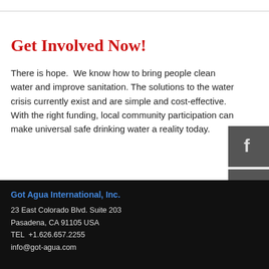Get Involved Now!
There is hope.  We know how to bring people clean water and improve sanitation. The solutions to the water crisis currently exist and are simple and cost-effective. With the right funding, local community participation can make universal safe drinking water a reality today.
[Figure (other): Facebook social media icon (dark grey square with white 'f' logo)]
[Figure (other): Tumblr social media icon (dark grey square with white 't' logo)]
[Figure (other): Instagram social media icon (dark grey square with white camera logo)]
Got Agua International, Inc.
23 East Colorado Blvd. Suite 203
Pasadena, CA 91105 USA
TEL  +1.626.657.2255
info@got-agua.com